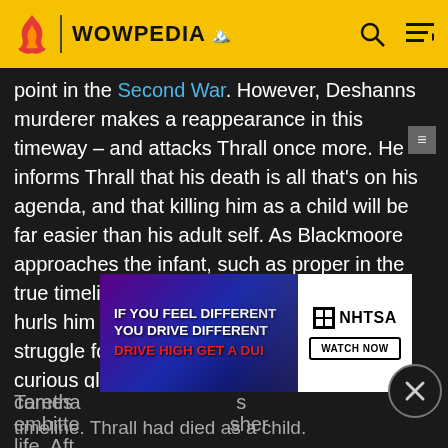WOWPEDIA
point in the Second War. However, Deshanns murderer makes a reappearance in this timeway – and attacks Thrall once more. He informs Thrall that his death is all that's on his agenda, and that killing him as a child will be far easier than his adult self. As Blackmoore approaches the infant, such as proper in the true timeline, Thrall grabs his attacker and hurls him into a neighboring river. The two struggle for a time, though after noticing a curious glittering of bronze scales, Thrall is taken to another point in time and his attacker disappears once more. Thrall comes embittered life. Aft Taretha timeline. Thrall had died as a child.
[Figure (screenshot): NHTSA advertisement: IF YOU FEEL DIFFERENT YOU DRIVE DIFFERENT DRIVE HIGH GET A DUI]